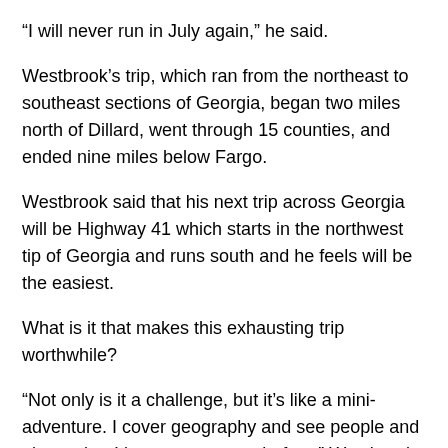“I will never run in July again,” he said.
Westbrook’s trip, which ran from the northeast to southeast sections of Georgia, began two miles north of Dillard, went through 15 counties, and ended nine miles below Fargo.
Westbrook said that his next trip across Georgia will be Highway 41 which starts in the northwest tip of Georgia and runs south and he feels will be the easiest.
What is it that makes this exhausting trip worthwhile?
“Not only is it a challenge, but it’s like a mini-adventure. I cover geography and see people and places that I have never seen before,” Westbrook said. “It’s easy to travel by car or bike, but it’s unique to travel across the state on